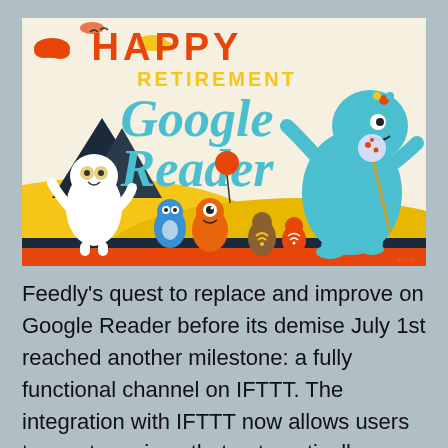[Figure (illustration): Cartoon illustration with colorful monsters and characters celebrating Google Reader's retirement. Text reads 'Happy Retirement Google Reader' in bold decorative lettering. A large teal monster walks with a stick and bindle on the right. Various small cartoon characters in yellow, orange, blue and white dance on rolling hills with mountains, trees, clouds, and balloons in the background.]
Feedly's quest to replace and improve on Google Reader before its demise July 1st reached another milestone: a fully functional channel on IFTTT. The integration with IFTTT now allows users to create recipes that automatically combine actions on Feedly with Facebook, Twitter, LinkedIn, Evernote and